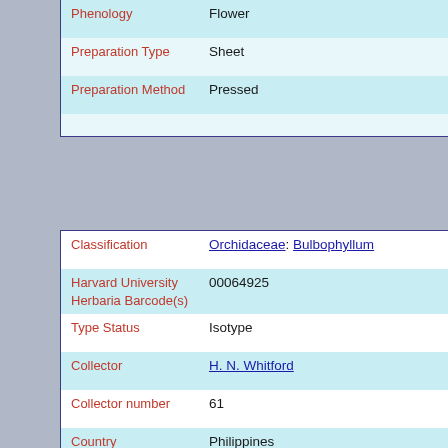| Field | Value |
| --- | --- |
| Phenology | Flower |
| Preparation Type | Sheet |
| Preparation Method | Pressed |
| Field | Value |
| --- | --- |
| Classification | Orchidaceae: Bulbophyllum |
| Harvard University Herbaria Barcode(s) | 00064925 |
| Type Status | Isotype |
| Collector | H. N. Whitford |
| Collector number | 61 |
| Country | Philippines |
| Geography | Asia: Southeast Asia (Region): Philippines: Luzon |
| Locality | Lamao River, Mount Mariveles, Luzon Island |
| Date Collected | 1904-04-** |
| GUID | http://purl.oclc.org/net/edu.harvard.huh/guid/uuid/... |